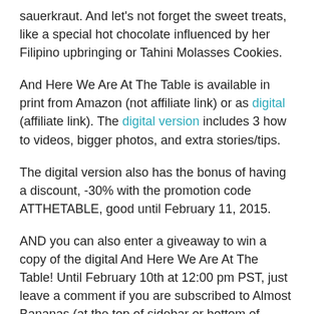sauerkraut. And let's not forget the sweet treats, like a special hot chocolate influenced by her Filipino upbringing or Tahini Molasses Cookies.
And Here We Are At The Table is available in print from Amazon (not affiliate link) or as digital (affiliate link). The digital version includes 3 how to videos, bigger photos, and extra stories/tips.
The digital version also has the bonus of having a discount, -30% with the promotion code ATTHETABLE, good until February 11, 2015.
AND you can also enter a giveaway to win a copy of the digital And Here We Are At The Table! Until February 10th at 12:00 pm PST, just leave a comment if you are subscribed to Almost Bananas (at the top of sidebar or bottom of post). This is mandatory. For extra chances to win, take a look at more info for And Here We Are At The Table and leave a SEPARATE comment on what dish you would like to try. A winner will be randomly chosen.